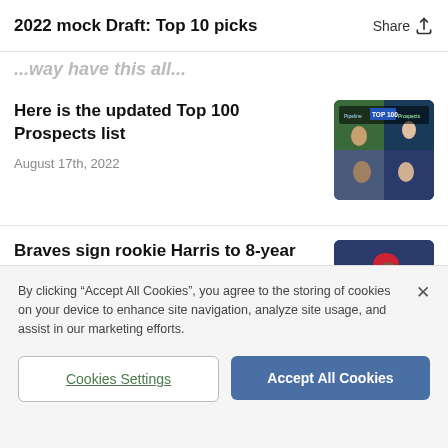2022 mock Draft: Top 10 picks
...way have this all...
Here is the updated Top 100 Prospects list
August 17th, 2022
[Figure (photo): Collage of baseball prospects with 'Pipeline TOP 100 Prospects' overlay]
Braves sign rookie Harris to 8-year deal
August 17th, 2022
[Figure (photo): Baseball player in Braves uniform running bases]
By clicking "Accept All Cookies", you agree to the storing of cookies on your device to enhance site navigation, analyze site usage, and assist in our marketing efforts.
Cookies Settings
Accept All Cookies